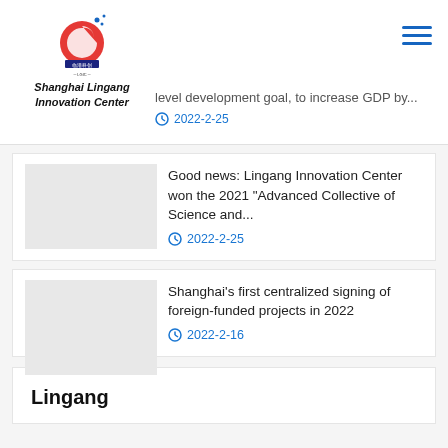[Figure (logo): Shanghai Lingang Innovation Center logo — circular red/blue swirl with Chinese text and 'LGIC' below]
Shanghai Lingang Innovation Center
level development goal, to increase GDP by...
2022-2-25
Good news: Lingang Innovation Center won the 2021 "Advanced Collective of Science and...
2022-2-25
Shanghai's first centralized signing of foreign-funded projects in 2022
2022-2-16
Lingang